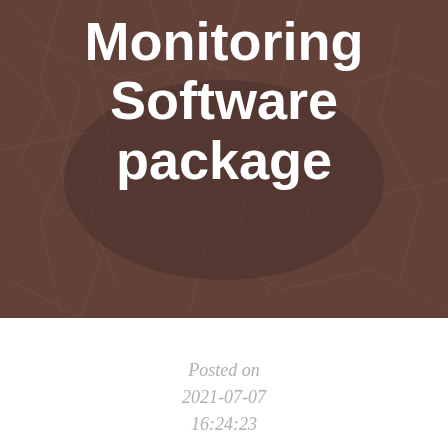[Figure (photo): Dark brownish-gray background photo of dry twigs and branches, serving as a decorative cover image behind the title text.]
Monitoring Software package
Posted on
2021-07-07
16:24:23